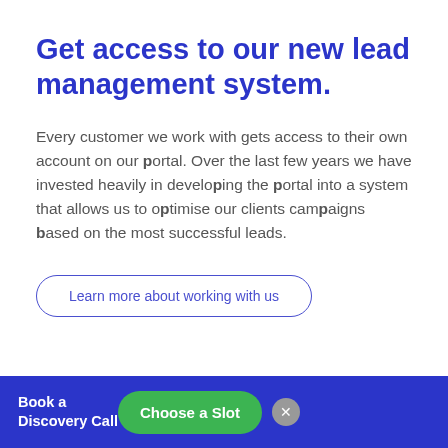Get access to our new lead management system.
Every customer we work with gets access to their own account on our portal. Over the last few years we have invested heavily in developing the portal into a system that allows us to optimise our clients campaigns based on the most successful leads.
Learn more about working with us
Book a Discovery Call
Choose a Slot